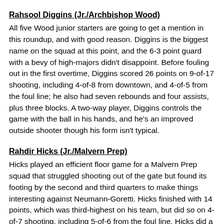Rahsool Diggins (Jr./Archbishop Wood)
All five Wood junior starters are going to get a mention in this roundup, and with good reason. Diggins is the biggest name on the squad at this point, and the 6-3 point guard with a bevy of high-majors didn't disappoint. Before fouling out in the first overtime, Diggins scored 26 points on 9-of-17 shooting, including 4-of-8 from downtown, and 4-of-5 from the foul line; he also had seven rebounds and four assists, plus three blocks. A two-way player, Diggins controls the game with the ball in his hands, and he's an improved outside shooter though his form isn't typical.
Rahdir Hicks (Jr./Malvern Prep)
Hicks played an efficient floor game for a Malvern Prep squad that struggled shooting out of the gate but found its footing by the second and third quarters to make things interesting against Neumann-Goretti. Hicks finished with 14 points, which was third-highest on his team, but did so on 4-of-7 shooting, including 5-of-6 from the foul line. Hicks did a good job of handling the Saints' pressure defense, got into the lane, found teammates on the perimeter, and limited his mistakes.